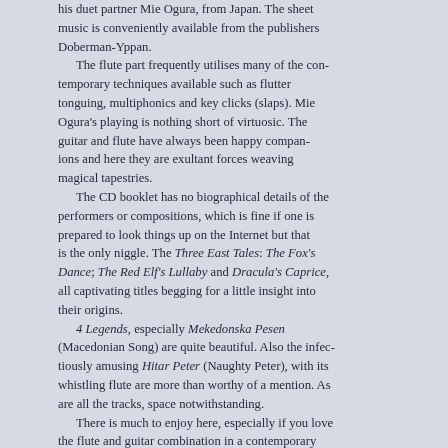his duet partner Mie Ogura, from Japan. The sheet music is conveniently available from the publishers Doberman-Yppan.
    The flute part frequently utilises many of the contemporary techniques available such as flutter tonguing, multiphonics and key clicks (slaps). Mie Ogura's playing is nothing short of virtuosic. The guitar and flute have always been happy companions and here they are exultant forces weaving magical tapestries.
    The CD booklet has no biographical details of the performers or compositions, which is fine if one is prepared to look things up on the Internet but that is the only niggle. The Three East Tales: The Fox's Dance; The Red Elf's Lullaby and Dracula's Caprice, all captivating titles begging for a little insight into their origins.
    4 Legends, especially Mekedonska Pesen (Macedonian Song) are quite beautiful. Also the infectiously amusing Hitar Peter (Naughty Peter), with its whistling flute are more than worthy of a mention. As are all the tracks, space notwithstanding.
    There is much to enjoy here, especially if you love the flute and guitar combination in a contemporary setting. It is demanding listening but is equally appealing and without a hint of saccharine. It is impossible not to delight in the Balkan 'bounce' where it appears that the time signature of 4/4...